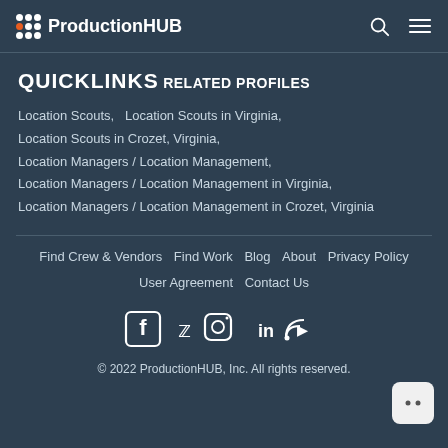ProductionHUB
QUICKLINKS
RELATED PROFILES
Location Scouts,   Location Scouts in Virginia,
Location Scouts in Crozet, Virginia,
Location Managers / Location Management,
Location Managers / Location Management in Virginia,
Location Managers / Location Management in Crozet, Virginia
Find Crew & Vendors  Find Work  Blog  About  Privacy Policy  User Agreement  Contact Us
© 2022 ProductionHUB, Inc. All rights reserved.